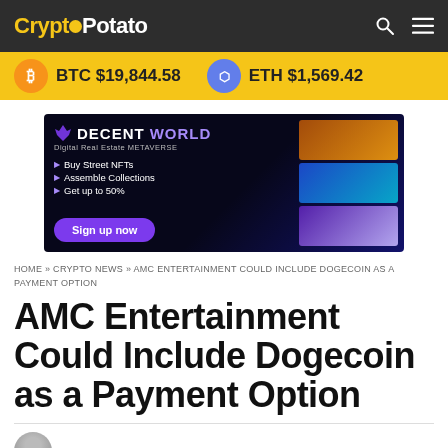CryptoPotato
BTC $19,844.58   ETH $1,569.42
[Figure (screenshot): DecentWorld advertisement banner: Digital Real Estate METAVERSE. Buy Street NFTs, Assemble Collections, Get up to 50%. Sign up now button. Shows metaverse imagery on right side.]
HOME » CRYPTO NEWS » AMC ENTERTAINMENT COULD INCLUDE DOGECOIN AS A PAYMENT OPTION
AMC Entertainment Could Include Dogecoin as a Payment Option